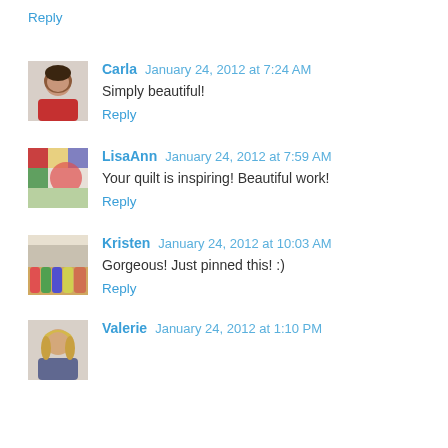Reply
Carla January 24, 2012 at 7:24 AM
Simply beautiful!
Reply
LisaAnn January 24, 2012 at 7:59 AM
Your quilt is inspiring! Beautiful work!
Reply
Kristen January 24, 2012 at 10:03 AM
Gorgeous! Just pinned this! :)
Reply
Valerie January 24, 2012 at 1:10 PM